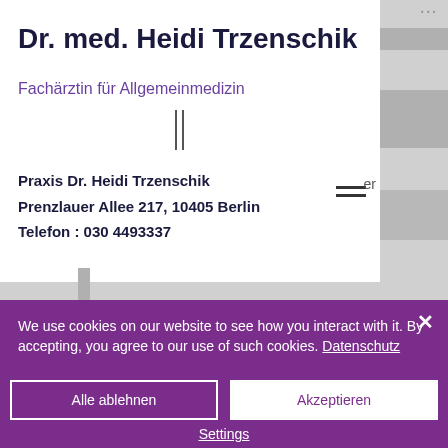Dr. med. Heidi Trzenschik
Fachärztin für Allgemeinmedizin
Praxis Dr. Heidi Trzenschik
Prenzlauer Allee 217, 10405 Berlin
Telefon : 030 4493337
We use cookies on our website to see how you interact with it. By accepting, you agree to our use of such cookies. Datenschutz
Alle ablehnen
Akzeptieren
Settings